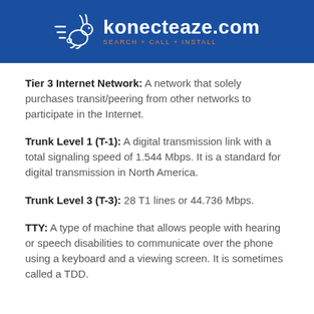[Figure (logo): konecteaze.com logo with rabbit icon on blue background. Tagline: SEARCH + CALL + INSTALL]
Tier 3 Internet Network: A network that solely purchases transit/peering from other networks to participate in the Internet.
Trunk Level 1 (T-1): A digital transmission link with a total signaling speed of 1.544 Mbps. It is a standard for digital transmission in North America.
Trunk Level 3 (T-3): 28 T1 lines or 44.736 Mbps.
TTY: A type of machine that allows people with hearing or speech disabilities to communicate over the phone using a keyboard and a viewing screen. It is sometimes called a TDD.